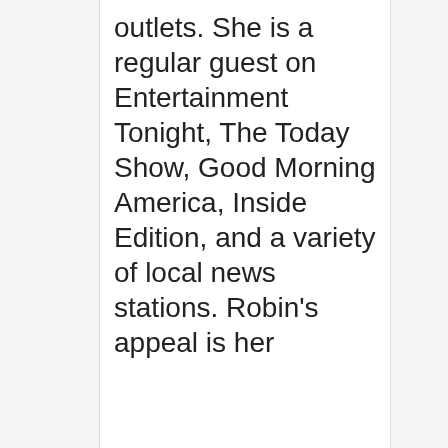outlets. She is a regular guest on Entertainment Tonight, The Today Show, Good Morning America, Inside Edition, and a variety of local news stations. Robin's appeal is her